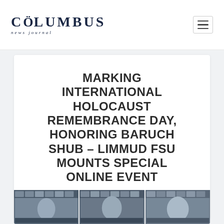COLUMBUS News Journal
MARKING INTERNATIONAL HOLOCAUST REMEMBRANCE DAY, HONORING BARUCH SHUB – LIMMUD FSU MOUNTS SPECIAL ONLINE EVENT
Jan 29, 2021 | Politics
[Figure (photo): Three video call screenshot panels showing participants of an online event, displayed at the bottom of the article card.]